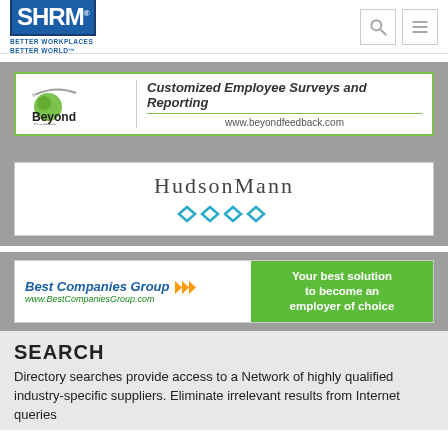[Figure (logo): SHRM logo with tagline BETTER WORKPLACES BETTER WORLD]
[Figure (logo): Beyond Feedback - Customized Employee Surveys and Reporting, www.beyondfeedback.com]
[Figure (logo): HudsonMann logo with diamond decorative elements]
[Figure (logo): Best Companies Group - Your best solution to become an employer of choice, www.BestCompaniesGroup.com]
SEARCH
Directory searches provide access to a Network of highly qualified industry-specific suppliers. Eliminate irrelevant results from Internet queries